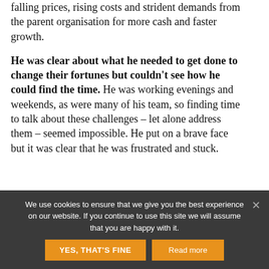falling prices, rising costs and strident demands from the parent organisation for more cash and faster growth.
He was clear about what he needed to get done to change their fortunes but couldn't see how he could find the time. He was working evenings and weekends, as were many of his team, so finding time to talk about these challenges – let alone address them – seemed impossible. He put on a brave face but it was clear that he was frustrated and stuck.
With a little help from my friends
We use cookies to ensure that we give you the best experience on our website. If you continue to use this site we will assume that you are happy with it.